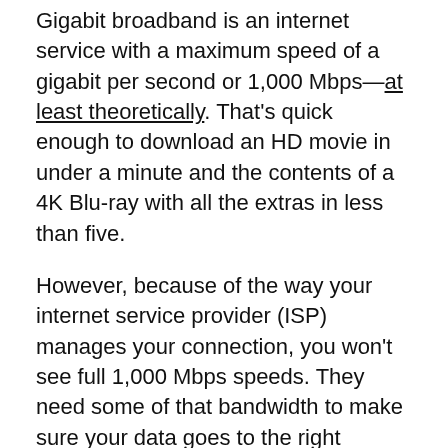Gigabit broadband is an internet service with a maximum speed of a gigabit per second or 1,000 Mbps—at least theoretically. That's quick enough to download an HD movie in under a minute and the contents of a 4K Blu-ray with all the extras in less than five.
However, because of the way your internet service provider (ISP) manages your connection, you won't see full 1,000 Mbps speeds. They need some of that bandwidth to make sure your data goes to the right places. Most gig service packages offer actual speeds of up to 940 Mbps, or something similar. That's still ridiculously fast.
How fast does your connection need to be to stream video?
How fast your connection needs to be to stream